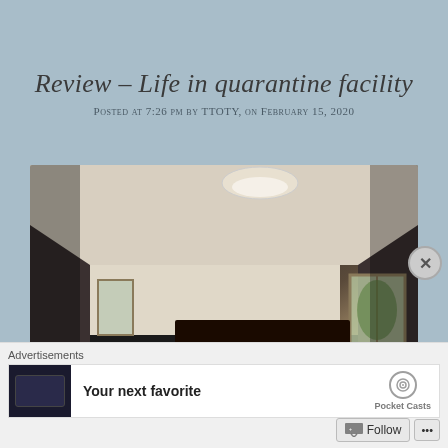Review – Life in quarantine facility
Posted at 7:26 pm by TTOTY, on February 15, 2020
[Figure (photo): Interior photo of a quarantine facility room showing a single bed with white linens, dark wooden frame, hardwood floors, a dresser with TV and bags, and windows with natural light on dark-painted walls.]
Advertisements
Your next favorite
Pocket Casts